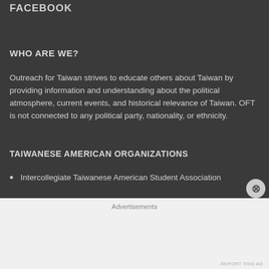FACEBOOK
WHO ARE WE?
Outreach for Taiwan strives to educate others about Taiwan by providing information and understanding about the political atmosphere, current events, and historical relevance of Taiwan. OFT is not connected to any political party, nationality, or ethnicity.
TAIWANESE AMERICAN ORGANIZATIONS
Intercollegiate Taiwanese American Student Association
Advertisements